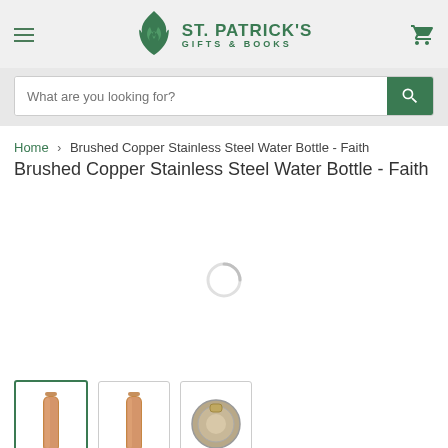[Figure (logo): St. Patrick's Gifts & Books logo with green flame/dove icon and green text]
What are you looking for?
Home > Brushed Copper Stainless Steel Water Bottle - Faith
Brushed Copper Stainless Steel Water Bottle - Faith
[Figure (photo): Loading spinner / product image loading area]
[Figure (photo): Three product thumbnails: brushed copper water bottle (selected, with green border), copper water bottle side view, water bottle cap top view]